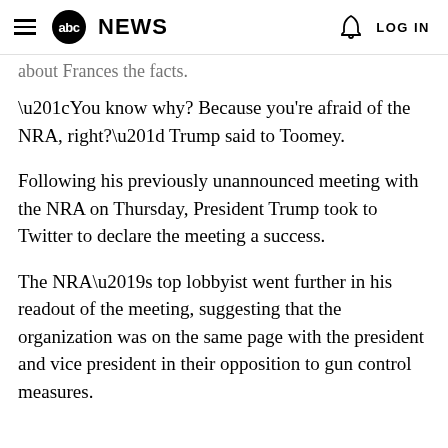abc NEWS  LOG IN
about Frances the facts.
“You know why? Because you're afraid of the NRA, right?” Trump said to Toomey.
Following his previously unannounced meeting with the NRA on Thursday, President Trump took to Twitter to declare the meeting a success.
The NRA’s top lobbyist went further in his readout of the meeting, suggesting that the organization was on the same page with the president and vice president in their opposition to gun control measures.